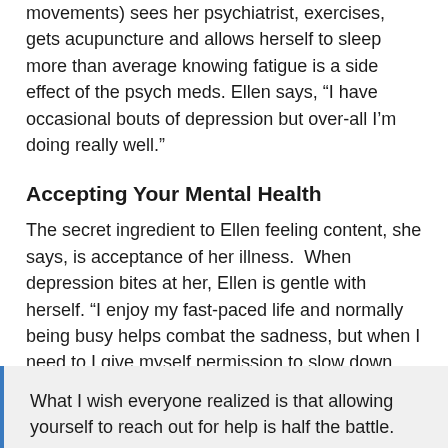movements) sees her psychiatrist, exercises, gets acupuncture and allows herself to sleep more than average knowing fatigue is a side effect of the psych meds. Ellen says, “I have occasional bouts of depression but over-all I’m doing really well.”
Accepting Your Mental Health
The secret ingredient to Ellen feeling content, she says, is acceptance of her illness.  When depression bites at her, Ellen is gentle with herself. “I enjoy my fast-paced life and normally being busy helps combat the sadness, but when I need to I give myself permission to slow down, play with my daughter, take a day or two off from work…
She explains, “I can hide my depression so well that people around me have no idea what I’m dealing with unless I clue them in.
What I wish everyone realized is that allowing yourself to reach out for help is half the battle.